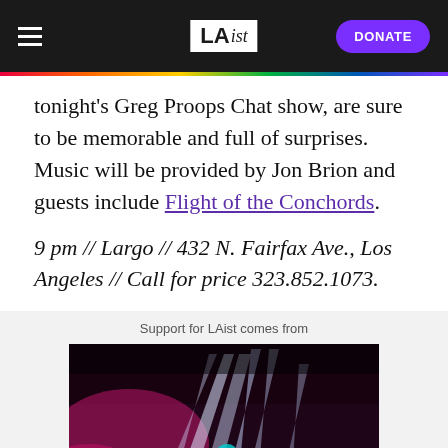LAist | DONATE
tonight's Greg Proops Chat show, are sure to be memorable and full of surprises. Music will be provided by Jon Brion and guests include Flight of the Conchords.
9 pm // Largo // 432 N. Fairfax Ave., Los Angeles // Call for price 323.852.1073.
Support for LAist comes from
[Figure (photo): Concert stage with dramatic lighting beams in pink and white against a dark background]